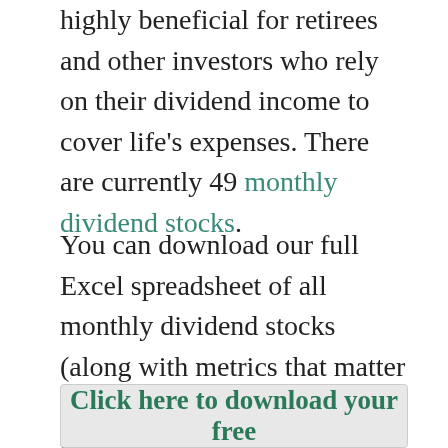highly beneficial for retirees and other investors who rely on their dividend income to cover life's expenses. There are currently 49 monthly dividend stocks.
You can download our full Excel spreadsheet of all monthly dividend stocks (along with metrics that matter like dividend yield and payout ratio) by clicking on the link below:
Click here to download your free